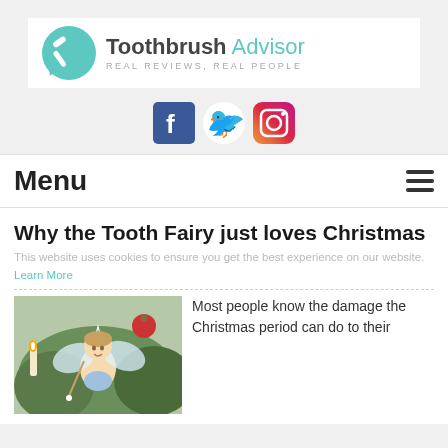[Figure (logo): Toothbrush Advisor logo with teal speech bubble icon containing a toothbrush, text reading 'Toothbrush Advisor' and subtitle 'REAL REVIEWS, REAL PEOPLE']
[Figure (other): Social media icons: Facebook (blue square with f), Twitter (teal bird), Instagram (gradient square with camera)]
Menu
Why the Tooth Fairy just loves Christmas
This website uses cookies to ensure you get the best experience on our website. Learn More
[Figure (illustration): Illustration of a fairy with wings holding a wand among Christmas greenery and candles]
Most people know the damage the Christmas period can do to their